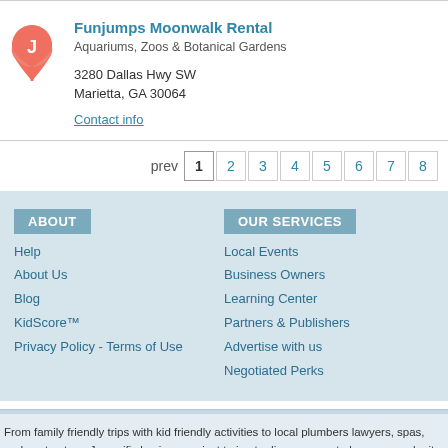[Figure (illustration): Map pin marker with letter J, salmon/red color]
Funjumps Moonwalk Rental
Aquariums, Zoos & Botanical Gardens
3280 Dallas Hwy SW
Marietta, GA 30064
Contact info
prev 1 2 3 4 5 6 7 8
ABOUT
Help
About Us
Blog
KidScore™
Privacy Policy - Terms of Use
OUR SERVICES
Local Events
Business Owners
Learning Center
Partners & Publishers
Advertise with us
Negotiated Perks
From family friendly trips with kid friendly activities to local plumbers lawyers, spas, and contractors. J specific business or just trying to discover great places we make it easy. We're a family oriented site f places are becoming more relevant to Judy's Book users, have a favorite place? Write a review and t
EXPLORE BY CATEGORY